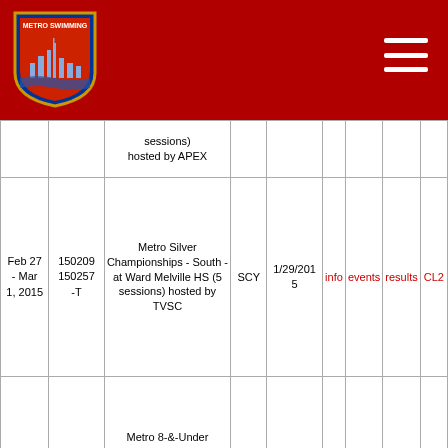[Figure (logo): Metro Swimming shield logo with Statue of Liberty]
| Date | Meet# | Meet Name | Course | Entry Deadline | info | events | results | CL2 |
| --- | --- | --- | --- | --- | --- | --- | --- | --- |
|  |  | (sessions) hosted by APEX |  |  |  |  |  |  |
| Feb 27 - Mar 1, 2015 | 150209 150257-T | Metro Silver Championships - South - at Ward Melville HS (5 sessions) hosted by TVSC | SCY | 1/29/2015 | info | events | results | CL2 |
| Mar 6-7, 2015 | 150100 | Metro 8-&-Under Championships at Felix Festa (4 sessions) hosted by COND | SCY | 12/6/2014 | info | events | results | CL2 |
| Mar 7-8, 2015 | 150303 | AGUA Last Chance Meet for 9&O at Asphalt Green | SCY | 1/15/2015 | info | events | results | CL2 |